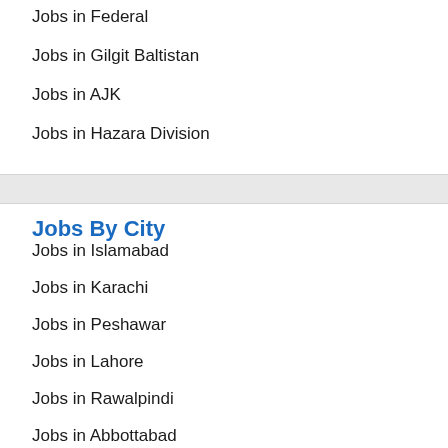Jobs in Federal
Jobs in Gilgit Baltistan
Jobs in AJK
Jobs in Hazara Division
Jobs By City
Jobs in Islamabad
Jobs in Karachi
Jobs in Peshawar
Jobs in Lahore
Jobs in Rawalpindi
Jobs in Abbottabad